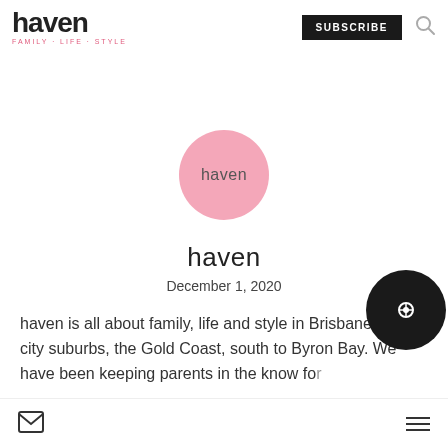haven — FAMILY · LIFE · STYLE | SUBSCRIBE
[Figure (logo): Pink circular avatar logo with the word 'haven' in grey text centered inside]
haven
December 1, 2020
haven is all about family, life and style in Brisbane's inner city suburbs, the Gold Coast, south to Byron Bay. We have been keeping parents in the know for...
Mail icon | Hamburger menu icon